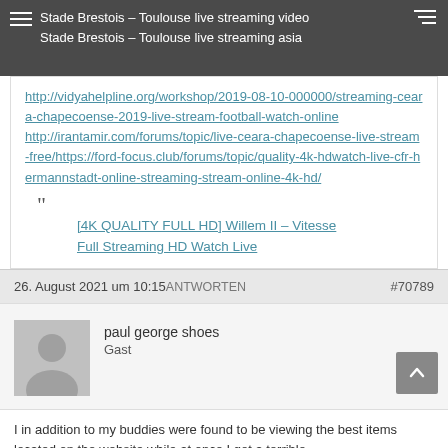Stade Brestois – Toulouse live streaming video
Stade Brestois – Toulouse live streaming asia
http://vidyahelpline.org/workshop/2019-08-10-000000/streaming-ceara-chapecoense-2019-live-stream-football-watch-online
http://irantamir.com/forums/topic/live-ceara-chapecoense-live-stream-free/https://ford-focus.club/forums/topic/quality-4k-hdwatch-live-cfr-hermannstadt-online-streaming-stream-online-4k-hd/
[4K QUALITY FULL HD] Willem II – Vitesse Full Streaming HD Watch Live
26. August 2021 um 10:15 ANTWORTEN #70789
[Figure (photo): Default user avatar - grey silhouette of a person on grey background]
paul george shoes
Gast
I in addition to my buddies were found to be viewing the best items located on the website while at once I got a terrible